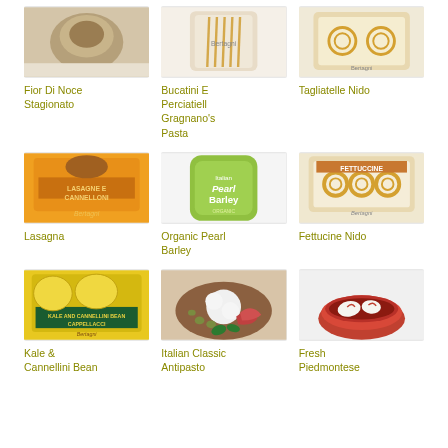[Figure (photo): Fior Di Noce Stagionato product image]
Fior Di Noce Stagionato
[Figure (photo): Bucatini E Perciatiell Gragnano's Pasta product image]
Bucatini E Perciatiell Gragnano's Pasta
[Figure (photo): Tagliatelle Nido product image]
Tagliatelle Nido
[Figure (photo): Lasagna product image]
Lasagna
[Figure (photo): Organic Pearl Barley product image]
Organic Pearl Barley
[Figure (photo): Fettucine Nido product image]
Fettucine Nido
[Figure (photo): Kale & Cannellini Bean product image]
Kale & Cannellini Bean
[Figure (photo): Italian Classic Antipasto product image]
Italian Classic Antipasto
[Figure (photo): Fresh Piedmontese product image]
Fresh Piedmontese